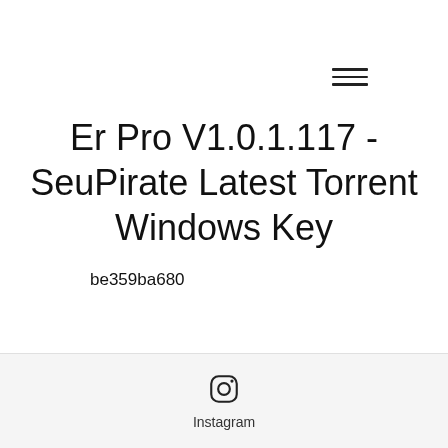[Figure (other): Hamburger menu icon (three horizontal lines)]
Er Pro V1.0.1.117 - SeuPirate Latest Torrent Windows Key
be359ba680
code d'enregistrement sims 3
Instagram